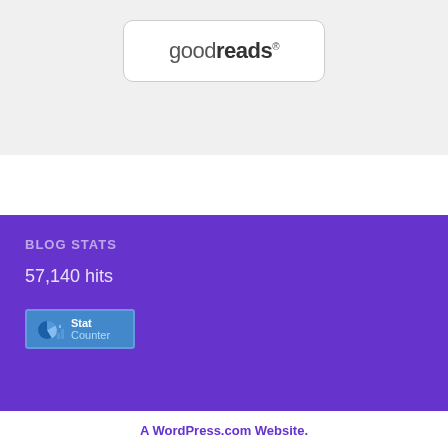[Figure (logo): Goodreads logo in a rounded rectangle box]
BLOG STATS
57,140 hits
[Figure (logo): StatCounter badge with pie chart icon and bar chart icon, showing 'Stat Counter' text in blue box]
A WordPress.com Website.